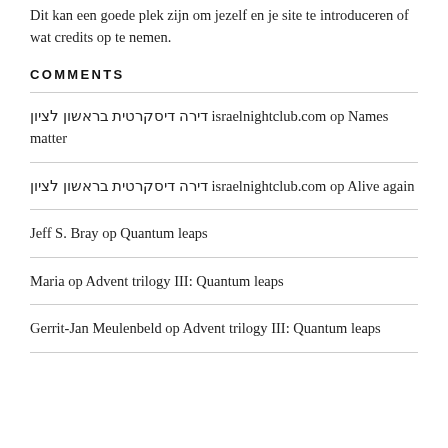Dit kan een goede plek zijn om jezelf en je site te introduceren of wat credits op te nemen.
COMMENTS
דירה דיסקרטית בראשון לציון israelnightclub.com op Names matter
דירה דיסקרטית בראשון לציון israelnightclub.com op Alive again
Jeff S. Bray op Quantum leaps
Maria op Advent trilogy III: Quantum leaps
Gerrit-Jan Meulenbeld op Advent trilogy III: Quantum leaps